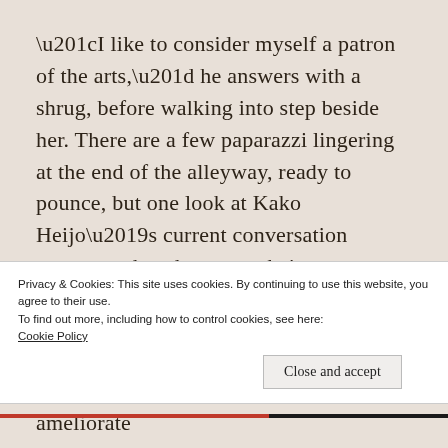“I like to consider myself a patron of the arts,” he answers with a shrug, before walking into step beside her. There are a few paparazzi lingering at the end of the alleyway, ready to pounce, but one look at Kako Heijo’s current conversation partner makes them turn their cameras away.
Suna still has a harsh reputation, after all, no matter what attempts were made to ameliorate
Privacy & Cookies: This site uses cookies. By continuing to use this website, you agree to their use.
To find out more, including how to control cookies, see here: Cookie Policy
Close and accept